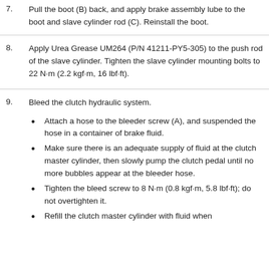7. Pull the boot (B) back, and apply brake assembly lube to the boot and slave cylinder rod (C). Reinstall the boot.
8. Apply Urea Grease UM264 (P/N 41211-PY5-305) to the push rod of the slave cylinder. Tighten the slave cylinder mounting bolts to 22 N·m (2.2 kgf·m, 16 lbf·ft).
9. Bleed the clutch hydraulic system.
Attach a hose to the bleeder screw (A), and suspended the hose in a container of brake fluid.
Make sure there is an adequate supply of fluid at the clutch master cylinder, then slowly pump the clutch pedal until no more bubbles appear at the bleeder hose.
Tighten the bleed screw to 8 N·m (0.8 kgf·m, 5.8 lbf·ft); do not overtighten it.
Refill the clutch master cylinder with fluid when...